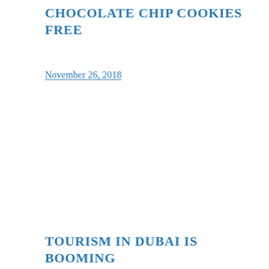CHOCOLATE CHIP COOKIES FREE
November 26, 2018
TOURISM IN DUBAI IS BOOMING INTERNATIONAL TOURIST MOST